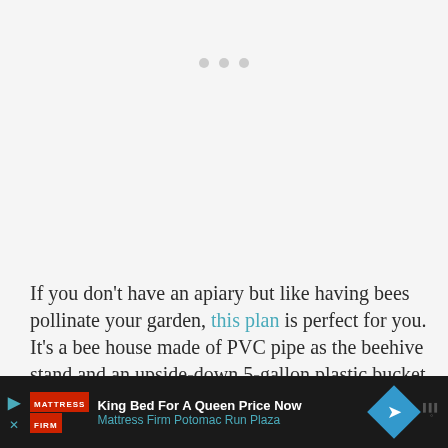[Figure (other): Loading placeholder with three gray dots centered near the top of the page]
If you don't have an apiary but like having bees pollinate your garden, this plan is perfect for you. It's a bee house made of PVC pipe as the beehive stand and an upside-down 5-gallon plastic bucket as the main hive. You don't get t[ext cut off by ad banner]
[Figure (other): Advertisement banner for Mattress Firm Potomac Run Plaza: 'King Bed For A Queen Price Now' with Mattress Firm logo, teal navigation arrow diamond icon, and volume/mute icon on dark background]